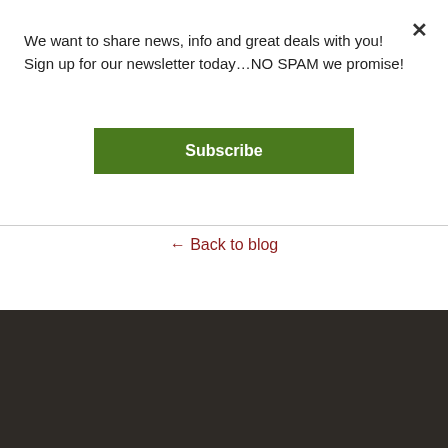We want to share news, info and great deals with you! Sign up for our newsletter today…NO SPAM we promise!
Subscribe
← Back to blog
LOUISIANA BOWHUNTER
info@louisianabowhunter.com
Blogs
LABH Blog